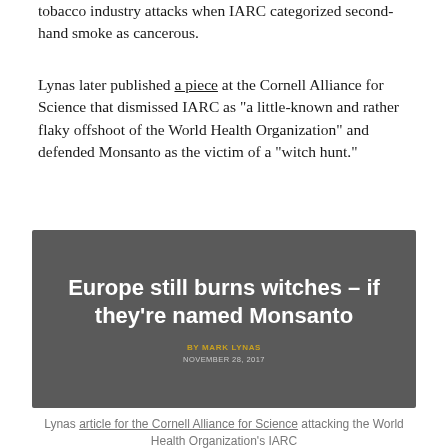tobacco industry attacks when IARC categorized second-hand smoke as cancerous.
Lynas later published a piece at the Cornell Alliance for Science that dismissed IARC as “a little-known and rather flaky offshoot of the World Health Organization” and defended Monsanto as the victim of a “witch hunt.”
[Figure (screenshot): Screenshot of a Cornell Alliance for Science article titled 'Europe still burns witches – if they’re named Monsanto' by Mark Lynas, published November 28, 2017. Dark gray background with white bold headline text and yellow byline.]
Lynas article for the Cornell Alliance for Science attacking the World Health Organization’s IARC